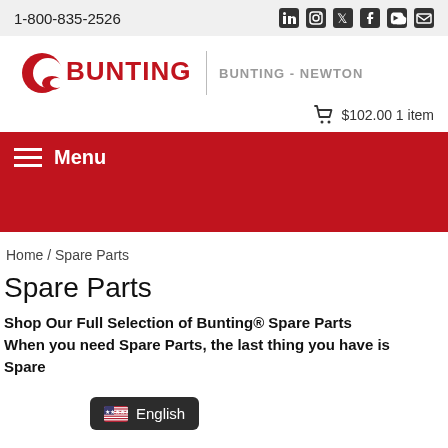1-800-835-2526
[Figure (logo): Bunting logo with red crescent icon and text BUNTING, followed by divider and text BUNTING - NEWTON]
$102.00 1 item
Menu
Home / Spare Parts
Spare Parts
Shop Our Full Selection of Bunting® Spare Parts When you need Spare Parts, the last thing you have is Spare
English